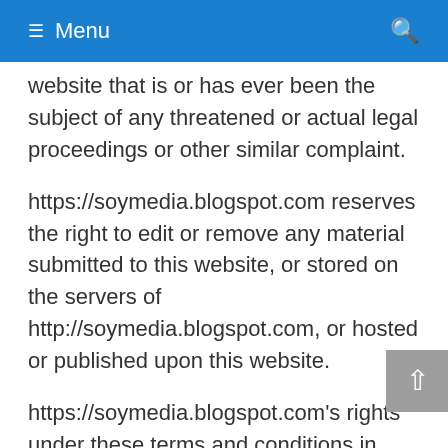≡ Menu
website that is or has ever been the subject of any threatened or actual legal proceedings or other similar complaint.
https://soymedia.blogspot.com reserves the right to edit or remove any material submitted to this website, or stored on the servers of http://soymedia.blogspot.com, or hosted or published upon this website.
https://soymedia.blogspot.com's rights under these terms and conditions in relation to user content, https://soymedia.blogspot.com does not undertake to monitor the submission of such content to, or the publication of such content on, this website.